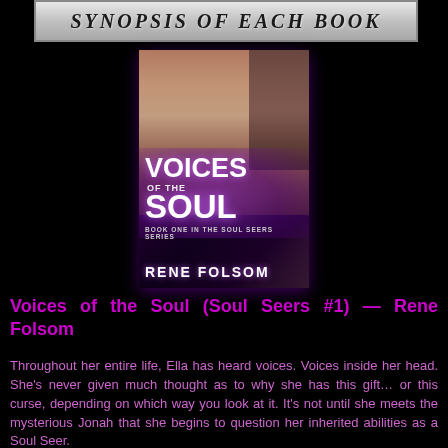SYNOPSIS OF EACH BOOK
[Figure (illustration): Book cover for 'Voices of the Soul' by Rene Folsom, showing a blonde woman and a man in the background with purple mist, part of the Soul Seers series]
Voices of the Soul (Soul Seers #1) — Rene Folsom
Throughout her entire life, Ella has heard voices. Voices inside her head. She's never given much thought as to why she has this gift… or this curse, depending on which way you look at it. It's not until she meets the mysterious Jonah that she begins to question her inherited abilities as a Soul Seer.